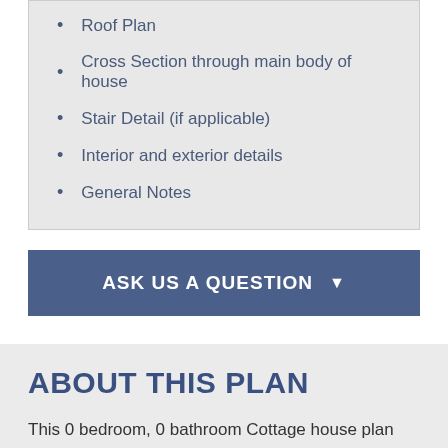Roof Plan
Cross Section through main body of house
Stair Detail (if applicable)
Interior and exterior details
General Notes
ASK US A QUESTION
ABOUT THIS PLAN
This 0 bedroom, 0 bathroom Cottage house plan features 0 sq ft of living space. America's Best House Plans offers high quality plans from professional architects and home designers across the country with a best price guarantee. Our extensive collection